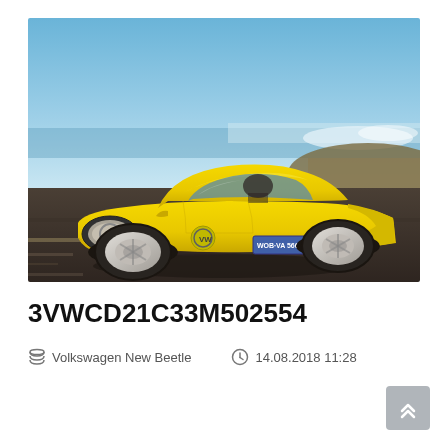[Figure (photo): Yellow Volkswagen New Beetle driving on a road near the coast, bright sunlit scene with ocean in background]
3VWCD21C33M502554
Volkswagen New Beetle   14.08.2018 11:28